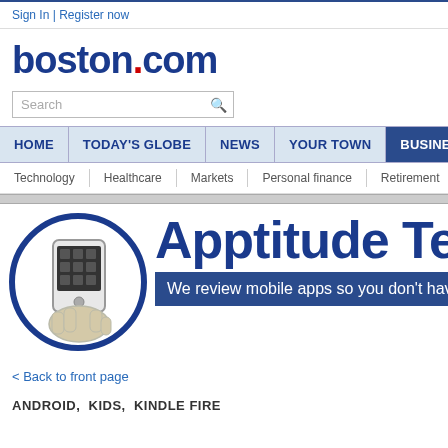Sign In | Register now
[Figure (logo): boston.com logo with red dot]
[Figure (screenshot): Search bar with magnifying glass button]
HOME | TODAY'S GLOBE | NEWS | YOUR TOWN | BUSINESS | SPOR...
Technology | Healthcare | Markets | Personal finance | Retirement | Blo...
[Figure (illustration): Apptitude Test banner with hand holding smartphone icon and tagline: We review mobile apps so you don't have to]
< Back to front page
ANDROID,  KIDS,  KINDLE FIRE